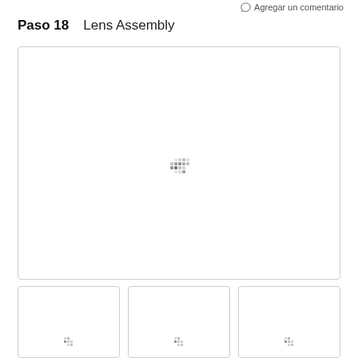Agregar un comentario
Paso 18    Lens Assembly
[Figure (illustration): Large white image panel with a loading spinner (dot grid) centered, bordered by a light gray rounded rectangle. Below are three smaller thumbnail panels also with loading spinners.]